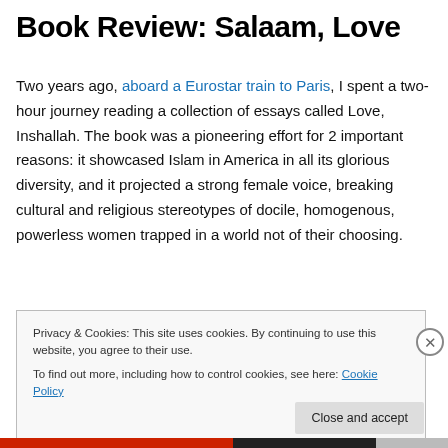Book Review: Salaam, Love
Two years ago, aboard a Eurostar train to Paris, I spent a two-hour journey reading a collection of essays called Love, Inshallah. The book was a pioneering effort for 2 important reasons: it showcased Islam in America in all its glorious diversity, and it projected a strong female voice, breaking cultural and religious stereotypes of docile, homogenous, powerless women trapped in a world not of their choosing.
Privacy & Cookies: This site uses cookies. By continuing to use this website, you agree to their use.
To find out more, including how to control cookies, see here: Cookie Policy